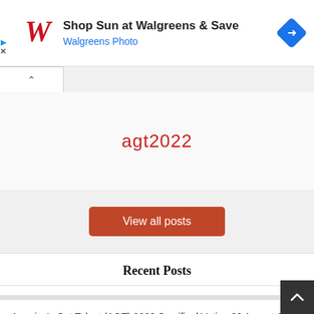[Figure (screenshot): Walgreens advertisement banner with red cursive W logo, text 'Shop Sun at Walgreens & Save' and 'Walgreens Photo', and a blue diamond navigation icon on the right]
[Figure (screenshot): Browser tab area with a back chevron tab]
agt2022
View all posts
Recent Posts
America's Got Talent (AGT) 2022 Semifinal Voting 23 August 2022 Online
Vote Sara James America's got Talent (AGT) 2022 Semi 23 August 2022 Online